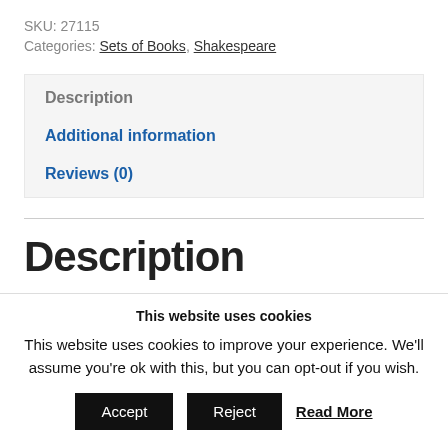SKU: 27115
Categories: Sets of Books, Shakespeare
Description
Additional information
Reviews (0)
Description
This website uses cookies
This website uses cookies to improve your experience. We'll assume you're ok with this, but you can opt-out if you wish.
Accept  Reject  Read More